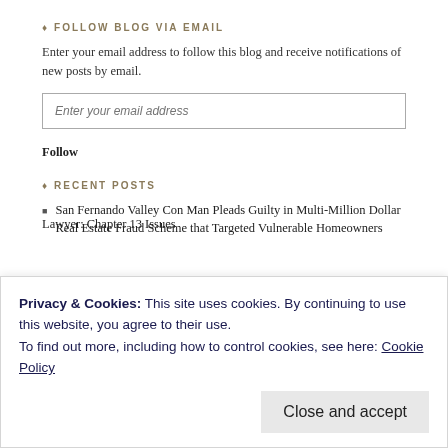FOLLOW BLOG VIA EMAIL
Enter your email address to follow this blog and receive notifications of new posts by email.
Enter your email address
Follow
RECENT POSTS
San Fernando Valley Con Man Pleads Guilty in Multi-Million Dollar Real Estate Fraud Scheme that Targeted Vulnerable Homeowners
Privacy & Cookies: This site uses cookies. By continuing to use this website, you agree to their use. To find out more, including how to control cookies, see here: Cookie Policy
Close and accept
Lawyer: Chapter 13 Issues